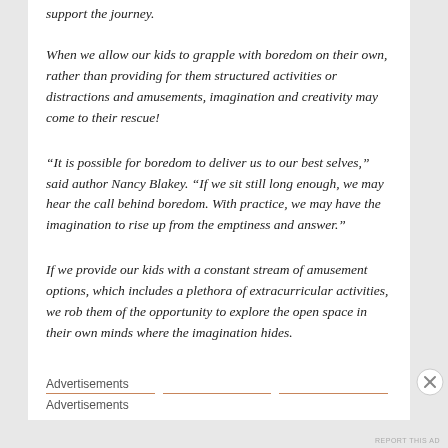support the journey.
When we allow our kids to grapple with boredom on their own, rather than providing for them structured activities or distractions and amusements, imagination and creativity may come to their rescue!
“It is possible for boredom to deliver us to our best selves,” said author Nancy Blakey. “If we sit still long enough, we may hear the call behind boredom. With practice, we may have the imagination to rise up from the emptiness and answer.”
If we provide our kids with a constant stream of amusement options, which includes a plethora of extracurricular activities, we rob them of the opportunity to explore the open space in their own minds where the imagination hides.
Advertisements
Advertisements